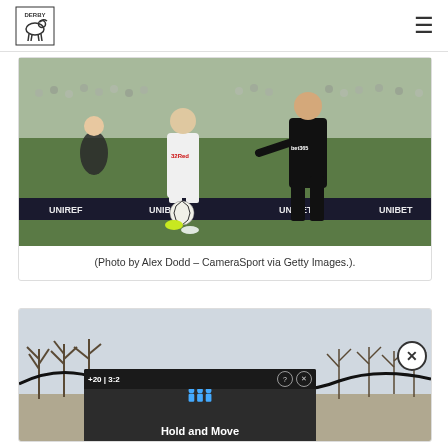Derby [logo] | menu
[Figure (photo): Football match action photo: Leeds United player in white kit (32Red sponsor) competing with Stoke City player in black kit (bet365 sponsor) during a match, with crowd in background and UNIBET advertising boards. Photo by Alex Dodd - CameraSport via Getty Images.]
(Photo by Alex Dodd – CameraSport via Getty Images.).
[Figure (photo): Advertisement card with wavy black line design and a close (X) button. Below: bottom ad strip showing sports score display with 'Hold and Move' text and person icons, alongside a background winter tree photo.]